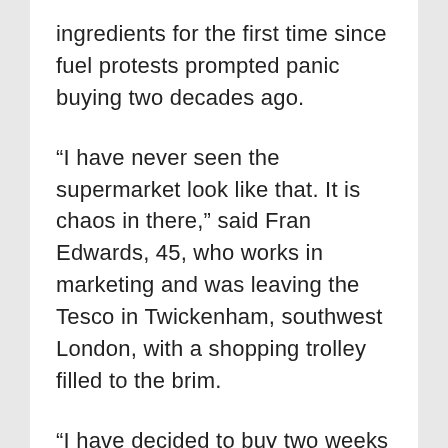ingredients for the first time since fuel protests prompted panic buying two decades ago.
“I have never seen the supermarket look like that. It is chaos in there,” said Fran Edwards, 45, who works in marketing and was leaving the Tesco in Twickenham, southwest London, with a shopping trolley filled to the brim.
“I have decided to buy two weeks worth of food. There are really long queues and there is not enough stock. I don’t want to panic. But at the same time I didn’t want to be regretting this opportunity in a few days.”